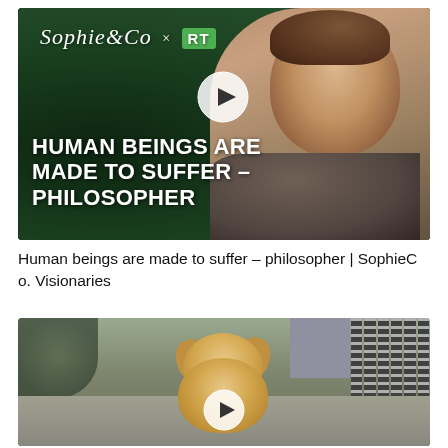[Figure (screenshot): Video thumbnail for SophieCo x RT show. Dark green background with woman in grey blazer on right. Text overlay: 'HUMAN BEINGS ARE MADE TO SUFFER – PHILOSOPHER'. SophieCo x RT logo in top left. Play button in center.]
Human beings are made to suffer – philosopher | SophieCo. Visionaries
[Figure (screenshot): Video thumbnail showing a golden retriever puppy licking its nose, outdoors on pavement. Play button overlay at bottom center.]